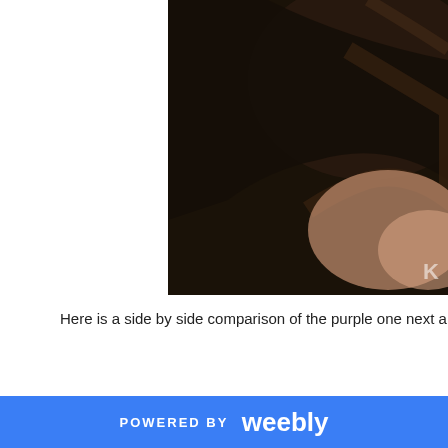[Figure (photo): Partial photo cropped at top-right, showing what appears to be a dark background with skin/hair tones — possibly a person's neck/shoulder area. A watermark letter 'K' is visible in the lower right.]
Here is a side by side comparison of the purple one next a chunk of the white on
[Figure (photo): Photo of a white/light grey smooth rounded stone or clay chunk resting on a purple/mauve surface. A watermark letter 'K' is visible in the lower right.]
POWERED BY weebly